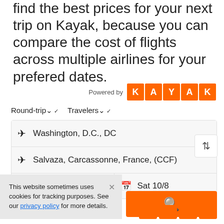find the best prices for your next trip on Kayak, because you can compare the cost of flights across multiple airlines for your prefered dates.
[Figure (logo): Powered by KAYAK logo with orange letter blocks]
Round-trip  Travelers
[Figure (screenshot): Flight search form with fields: Washington, D.C., DC (origin), Salvaza, Carcassonne, France, (CCF) (destination), Sat 10/1 (departure date), Sat 10/8 (return date), and an orange search button]
This website sometimes uses cookies for tracking purposes. See our privacy policy for more details.